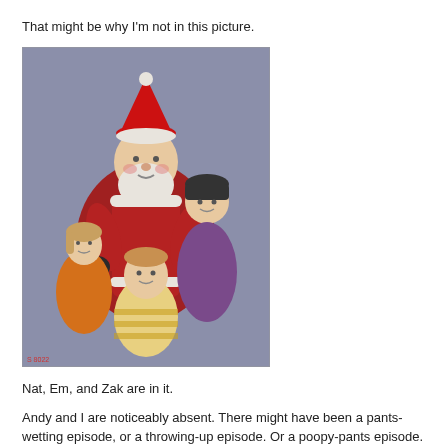That might be why I'm not in this picture.
[Figure (photo): Vintage Christmas photo showing Santa Claus with three children — a girl on his left, a boy in a dark cap behind, and a young boy in a striped shirt in front. Purple/blue background. Small text at bottom left corner.]
Nat, Em, and Zak are in it.
Andy and I are noticeably absent. There might have been a pants-wetting episode, or a throwing-up episode. Or a poopy-pants episode. Andy was always trying to get attention.
With the help of photoshop, I'll be revising history. Soon, Nat and his BUSINESS partner, Ken, will be sitting on Santa's lap… together. Ken needs to scrape up some childhood memory and get it over to me. I will remove Em and Zak (Zak clearly wants to be removed) and replace them with a little Ken. THEN, I will create a 4-color process halftone – OF COURSE it will be 50 lines per inch.